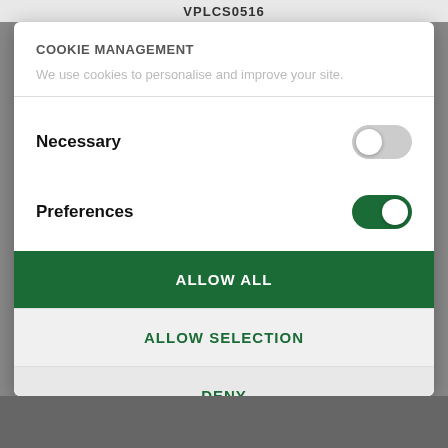VPLCS0516
COOKIE MANAGEMENT
We use cookies to personalise and improve your site.
Necessary
Preferences
ALLOW ALL
ALLOW SELECTION
DENY
Powered by Cookiebot by Usercentrics